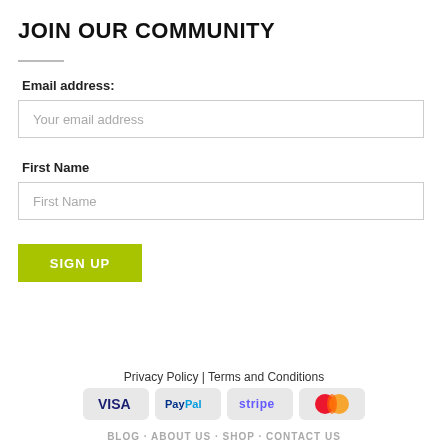JOIN OUR COMMUNITY
Email address:
Your email address
First Name
First Name
SIGN UP
Privacy Policy | Terms and Conditions
[Figure (other): Payment icons: VISA, PayPal, stripe, MasterCard]
BLOG · ABOUT US · SHOP · CONTACT US